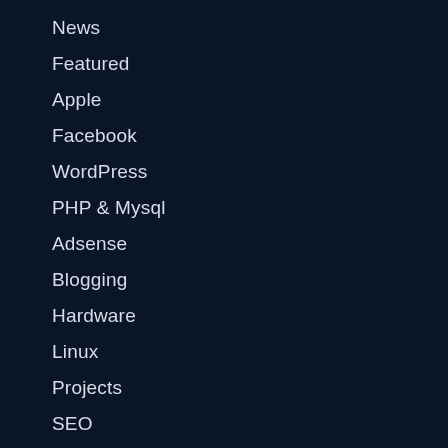News
Featured
Apple
Facebook
WordPress
PHP & Mysql
Adsense
Blogging
Hardware
Linux
Projects
SEO
Social Network
Software
Telecom
Tutorials